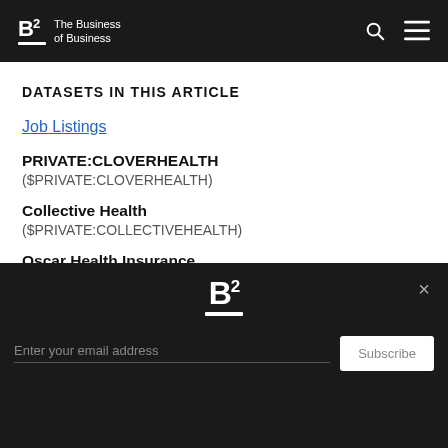B2 The Business of Business
DATASETS IN THIS ARTICLE
Job Listings
PRIVATE:CLOVERHEALTH ($PRIVATE:CLOVERHEALTH)
Collective Health ($PRIVATE:COLLECTIVEHEALTH)
Oscar Health Insurance ($PRIVATE:OSCARINSURANCE)